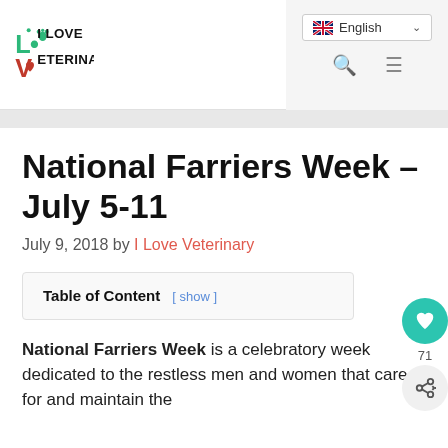I Love Veterinary — English language selector and navigation icons
National Farriers Week – July 5-11
July 9, 2018 by I Love Veterinary
| Table of Content |
| --- |
| [ show ] |
National Farriers Week is a celebratory week dedicated to the restless men and women that care for and maintain the